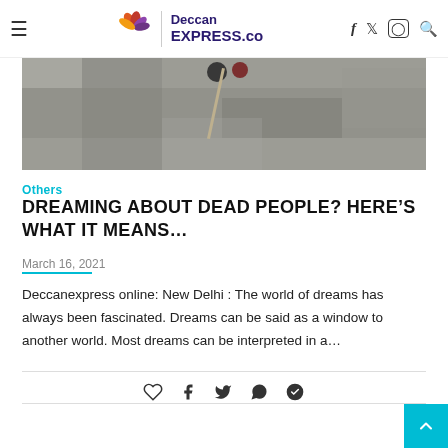≡  Deccan EXPRESS.co  f  🐦  📷  🔍
[Figure (photo): Black and white photo showing grass/ground with a stick and dark objects]
Others
DREAMING ABOUT DEAD PEOPLE? HERE'S WHAT IT MEANS…
March 16, 2021
Deccanexpress online: New Delhi : The world of dreams has always been fascinated. Dreams can be said as a window to another world. Most dreams can be interpreted in a…